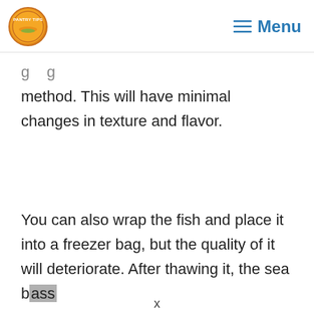PANTRY TIPS | Menu
method. This will have minimal changes in texture and flavor.
You can also wrap the fish and place it into a freezer bag, but the quality of it will deteriorate. After thawing it, the sea bass
x